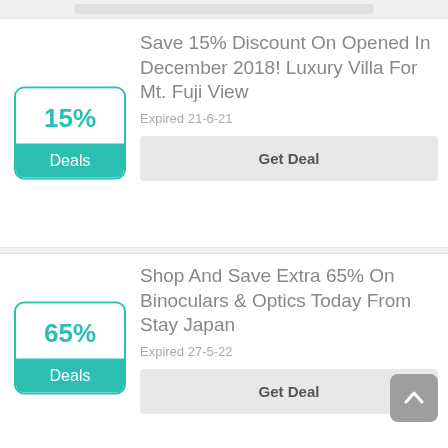[Figure (screenshot): Partial deal card at top, partially cropped]
Save 15% Discount On Opened In December 2018! Luxury Villa For Mt. Fuji View
Expired 21-6-21
Get Deal
Shop And Save Extra 65% On Binoculars & Optics Today From Stay Japan
Expired 27-5-22
Get Deal